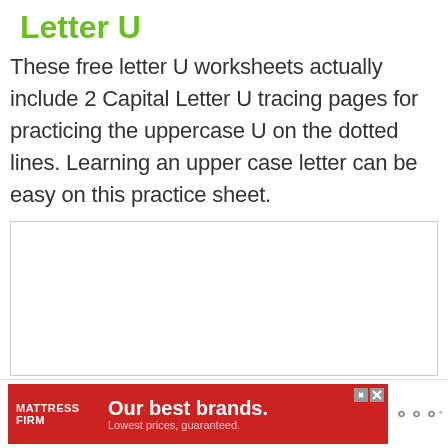Letter U
These free letter U worksheets actually include 2 Capital Letter U tracing pages for practicing the uppercase U on the dotted lines. Learning an upper case letter can be easy on this practice sheet.
[Figure (other): White rectangular box placeholder area (likely image of worksheet)]
[Figure (other): Advertisement banner: Mattress Firm - 'Our best brands. Lowest prices, guaranteed.']